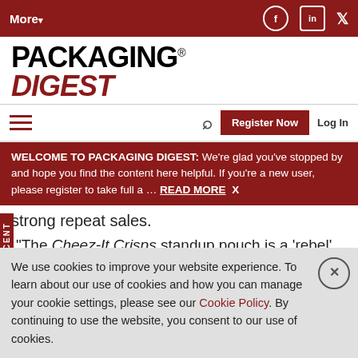More▾
[Figure (logo): Packaging Digest logo in black and dark red]
WELCOME TO PACKAGING DIGEST: We're glad you've stopped by and hope you find the content here helpful. If you're a new user, please register to take full a … READ MORE  X
strong repeat sales.
"The Cheez-It Crisps standup pouch is a 'rebel' package," states Rich Felber, senior packaging
We use cookies to improve your website experience. To learn about our use of cookies and how you can manage your cookie settings, please see our Cookie Policy. By continuing to use the website, you consent to our use of cookies.